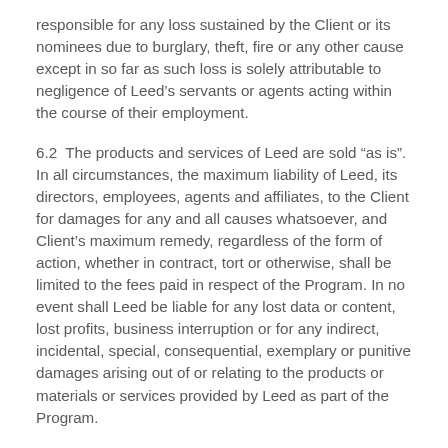responsible for any loss sustained by the Client or its nominees due to burglary, theft, fire or any other cause except in so far as such loss is solely attributable to negligence of Leed’s servants or agents acting within the course of their employment.
6.2 The products and services of Leed are sold “as is”. In all circumstances, the maximum liability of Leed, its directors, employees, agents and affiliates, to the Client for damages for any and all causes whatsoever, and Client’s maximum remedy, regardless of the form of action, whether in contract, tort or otherwise, shall be limited to the fees paid in respect of the Program. In no event shall Leed be liable for any lost data or content, lost profits, business interruption or for any indirect, incidental, special, consequential, exemplary or punitive damages arising out of or relating to the products or materials or services provided by Leed as part of the Program.